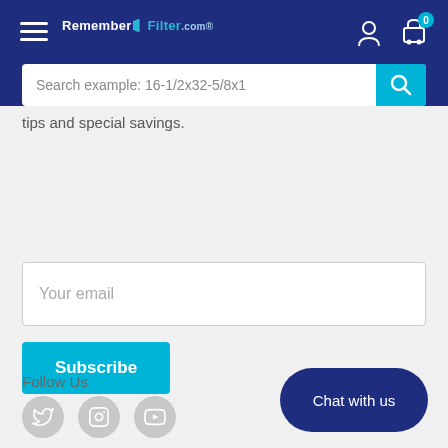RememberTheFilter.com — navigation header with search bar
tips and special savings.
Your email
Subscribe
Follow Us
[Figure (infographic): Social media icons: Twitter, Instagram, YouTube in grey circles]
Chat with us